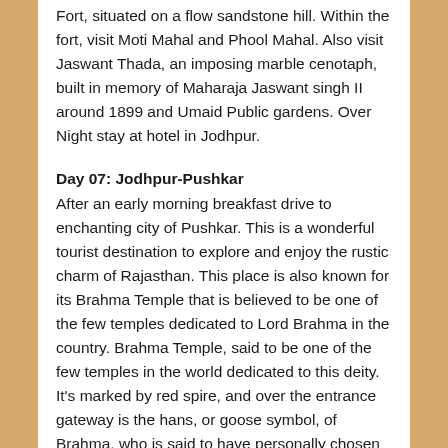Fort, situated on a flow sandstone hill. Within the fort, visit Moti Mahal and Phool Mahal. Also visit Jaswant Thada, an imposing marble cenotaph, built in memory of Maharaja Jaswant singh II around 1899 and Umaid Public gardens. Over Night stay at hotel in Jodhpur.
Day 07: Jodhpur-Pushkar
After an early morning breakfast drive to enchanting city of Pushkar. This is a wonderful tourist destination to explore and enjoy the rustic charm of Rajasthan. This place is also known for its Brahma Temple that is believed to be one of the few temples dedicated to Lord Brahma in the country. Brahma Temple, said to be one of the few temples in the world dedicated to this deity. It's marked by red spire, and over the entrance gateway is the hans, or goose symbol, of Brahma, who is said to have personally chosen Pushkar as its site.few are as ancient as you might expect at such an important pilgrimage site, since many were deserted by Aurangzeb and subsequently rebuilt. You